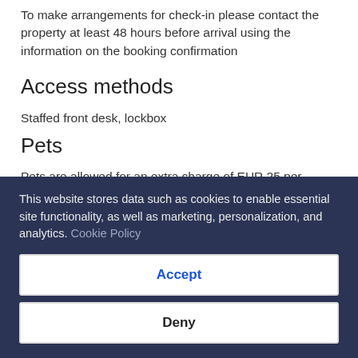To make arrangements for check-in please contact the property at least 48 hours before arrival using the information on the booking confirmation
Access methods
Staffed front desk, lockbox
Pets
Pets are allowed for an extra charge of EUR 25 per accommodation, per stay
Service animals are welcome, and are exempt from fees
This website stores data such as cookies to enable essential site functionality, as well as marketing, personalization, and analytics. Cookie Policy
Accept
Deny